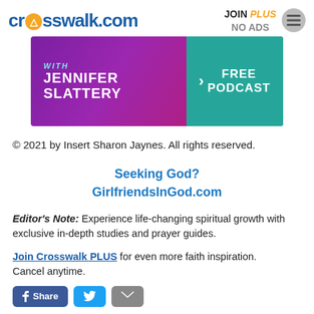crosswalk.com | JOIN PLUS NO ADS
[Figure (illustration): Advertisement banner for a podcast with Jennifer Slattery on a purple/magenta background, with teal button saying FREE PODCAST]
© 2021 by Insert Sharon Jaynes. All rights reserved.
Seeking God?
GirlfriendsInGod.com
Editor's Note: Experience life-changing spiritual growth with exclusive in-depth studies and prayer guides.
Join Crosswalk PLUS for even more faith inspiration. Cancel anytime.
[Figure (other): Social share buttons: Facebook Share, Twitter, Email]